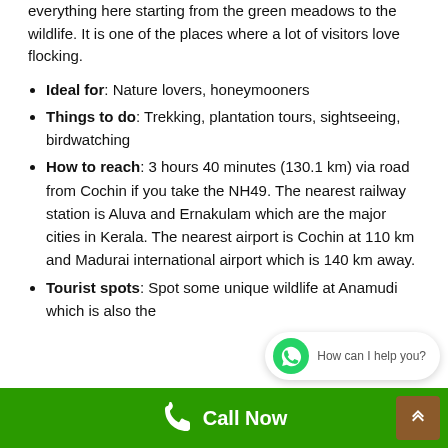everything here starting from the green meadows to the wildlife. It is one of the places where a lot of visitors love flocking.
Ideal for: Nature lovers, honeymooners
Things to do: Trekking, plantation tours, sightseeing, birdwatching
How to reach: 3 hours 40 minutes (130.1 km) via road from Cochin if you take the NH49. The nearest railway station is Aluva and Ernakulam which are the major cities in Kerala. The nearest airport is Cochin at 110 km and Madurai international airport which is 140 km away.
Tourist spots: Spot some unique wildlife at Anamudi which is also the
How can I help you?
Call Now